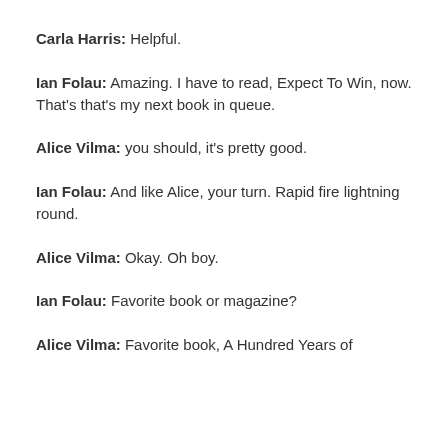Carla Harris: Helpful.
Ian Folau: Amazing. I have to read, Expect To Win, now. That's that's my next book in queue.
Alice Vilma: you should, it's pretty good.
Ian Folau: And like Alice, your turn. Rapid fire lightning round.
Alice Vilma: Okay. Oh boy.
Ian Folau: Favorite book or magazine?
Alice Vilma: Favorite book, A Hundred Years of